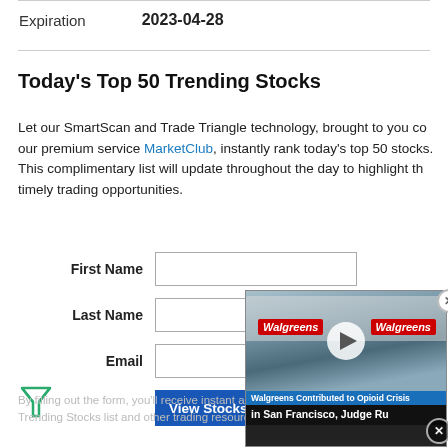|  |  |
| --- | --- |
| Expiration | 2023-04-28 |
Today's Top 50 Trending Stocks
Let our SmartScan and Trade Triangle technology, brought to you courtesy of our premium service MarketClub, instantly rank today's top 50 stocks. This complimentary list will update throughout the day to highlight the most timely trading opportunities.
First Name  Last Name  Email  View Stocks Now
[Figure (screenshot): Video overlay showing a Walgreens store exterior with play button and caption: 'Walgreens Contributed to Opioid Crisis in San Francisco, Judge Ru']
By filling out the form, you'll receive instant access to Today's Top 50 Trending Stocks list and other trading resources from IN